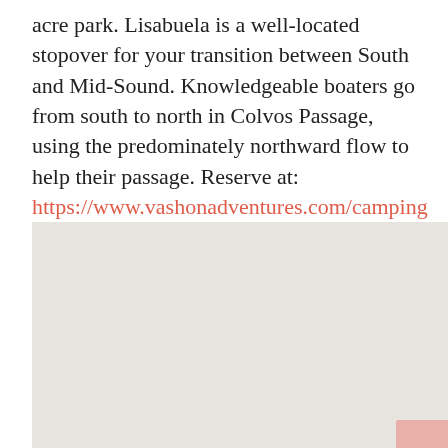acre park. Lisabuela is a well-located stopover for your transition between South and Mid-Sound. Knowledgeable boaters go from south to north in Colvos Passage, using the predominately northward flow to help their passage. Reserve at: https://www.vashonadventures.com/camping
[Figure (map): A light grey map image showing a geographic area, partially visible with a small pinkish-red element in the bottom-right corner.]